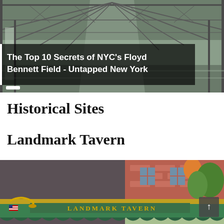[Figure (photo): Interior of a large industrial hangar or airport building with exposed steel roof trusses and beams; dark, gritty space with light coming through windows. Title overlay: 'The Top 10 Secrets of NYC's Floyd Bennett Field - Untapped New York']
Historical Sites
Landmark Tavern
[Figure (photo): Street-level photo of the Landmark Tavern building exterior showing a brick facade, green awnings, and the sign 'LANDMARK TAVERN' in gold lettering. An American flag is visible on the left side.]